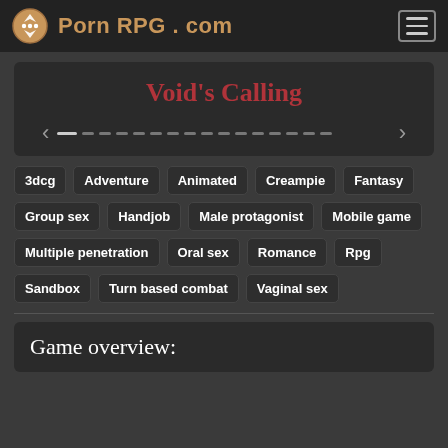Porn RPG . com
Void's Calling
3dcg
Adventure
Animated
Creampie
Fantasy
Group sex
Handjob
Male protagonist
Mobile game
Multiple penetration
Oral sex
Romance
Rpg
Sandbox
Turn based combat
Vaginal sex
Game overview: